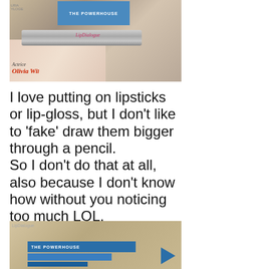[Figure (photo): Photo of a lip gloss tube labeled 'LipDialogue' resting on magazines including one with 'Actrice Olivia Wil...' cover and a blue box labeled 'THE POWERHOUSE']
I love putting on lipsticks or lip-gloss, but I don't like to 'fake' draw them bigger through a pencil.
So I don't do that at all, also because I don't know how without you noticing too much LOL.
And I'm scared of needles so I don't feel the need to inject my lips.
I have the next best thing.
[Figure (photo): Photo of blue packaging boxes labeled 'THE POWERHOUSE' with angular arrow design, shown on a light background]